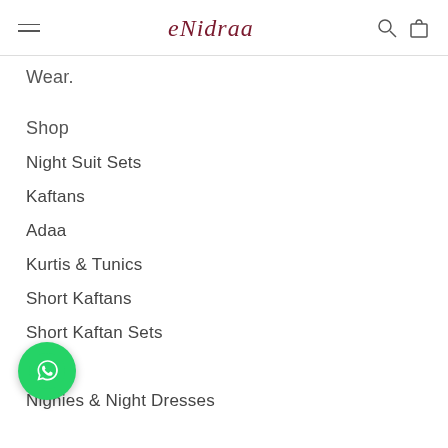eNidvaa — navigation header with hamburger menu, logo, search and cart icons
Wear.
Shop
Night Suit Sets
Kaftans
Adaa
Kurtis & Tunics
Short Kaftans
Short Kaftan Sets
Robes
Nighies & Night Dresses